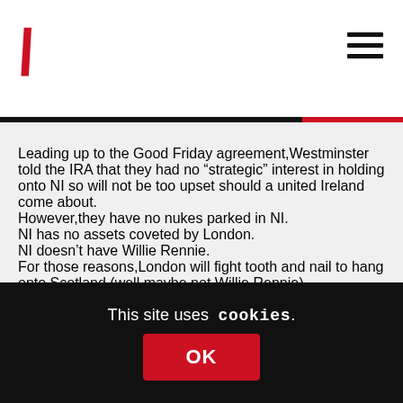\ [logo backslash] with hamburger menu
Leading up to the Good Friday agreement,Westminster told the IRA that they had no “strategic” interest in holding onto NI so will not be too upset should a united Ireland come about.
However,they have no nukes parked in NI.
NI has no assets coveted by London.
NI doesn’t have Willie Rennie.
For those reasons,London will fight tooth and nail to hang onto Scotland (well maybe not Willie Rennie).
If only all Scots could see this.
A lot of sheep in Scotland since the Clearances!
This site uses cookies.
OK